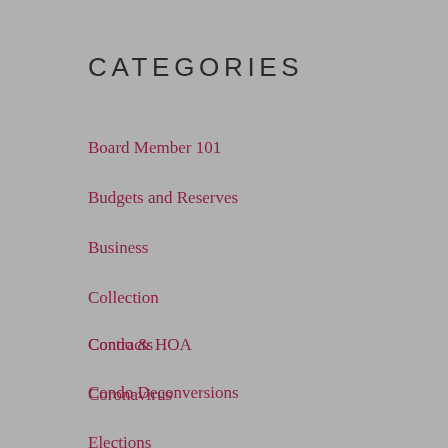CATEGORIES
Board Member 101
Budgets and Reserves
Business
Collection
Condo & HOA
Condo Deconversions
Contracts
Coronavirus
Elections